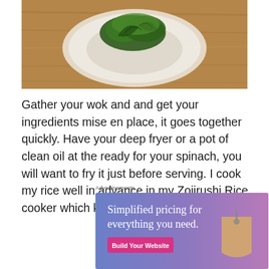[Figure (photo): A dish of food on a white plate with green leafy herbs/spinach on top, placed on a wooden surface, viewed from above.]
Gather your wok and and get your ingredients mise en place, it goes together quickly. Have your deep fryer or a pot of clean oil at the ready for your spinach, you will want to fry it just before serving. I cook my rice well in advance in my Zojirushi Rice cooker which keeps the rice warm forever.
Advertisements
[Figure (screenshot): Advertisement banner with gradient blue-purple background showing text 'Simplified pricing for everything you need.' with a pink 'Build Your Website' button and a wooden price tag graphic.]